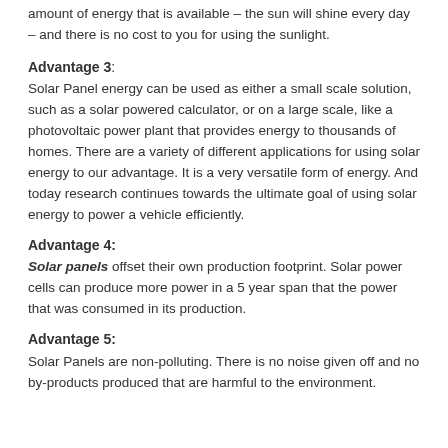amount of energy that is available – the sun will shine every day – and there is no cost to you for using the sunlight.
Advantage 3:
Solar Panel energy can be used as either a small scale solution, such as a solar powered calculator, or on a large scale, like a photovoltaic power plant that provides energy to thousands of homes. There are a variety of different applications for using solar energy to our advantage. It is a very versatile form of energy. And today research continues towards the ultimate goal of using solar energy to power a vehicle efficiently.
Advantage 4:
Solar panels offset their own production footprint. Solar power cells can produce more power in a 5 year span that the power that was consumed in its production.
Advantage 5:
Solar Panels are non-polluting. There is no noise given off and no by-products produced that are harmful to the environment.